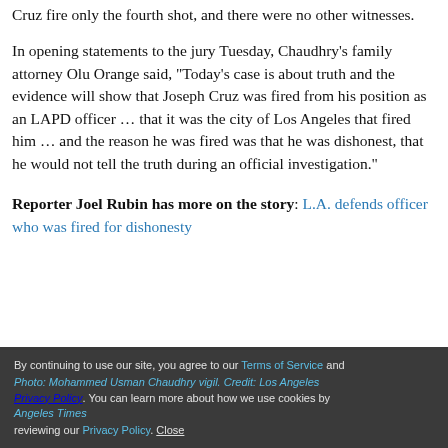Cruz fire only the fourth shot, and there were no other witnesses.
In opening statements to the jury Tuesday, Chaudhry's family attorney Olu Orange said, "Today's case is about truth and the evidence will show that Joseph Cruz was fired from his position as an LAPD officer … that it was the city of Los Angeles that fired him … and the reason he was fired was that he was dishonest, that he would not tell the truth during an official investigation."
Reporter Joel Rubin has more on the story: L.A. defends officer who was fired for dishonesty
By continuing to use our site, you agree to our Terms of Service and Privacy Policy. You can learn more about how we use cookies by reviewing our Privacy Policy. Close | Photo: Mohammed Usman Chaudhry vigil. Credit: Los Angeles Times